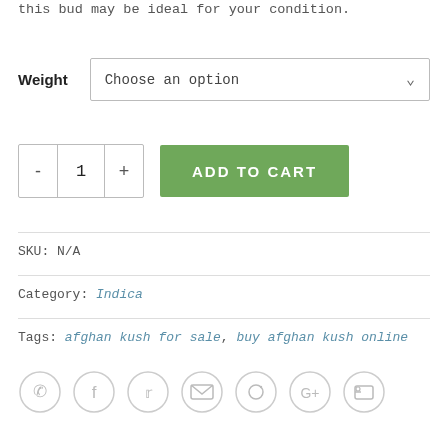this bud may be ideal for your condition.
Weight  Choose an option
- 1 +  ADD TO CART
SKU: N/A
Category: Indica
Tags: afghan kush for sale, buy afghan kush online
[Figure (other): Social sharing icons row: phone, facebook, twitter, email, pinterest, google+, linkedin — all in light gray circle outlines]